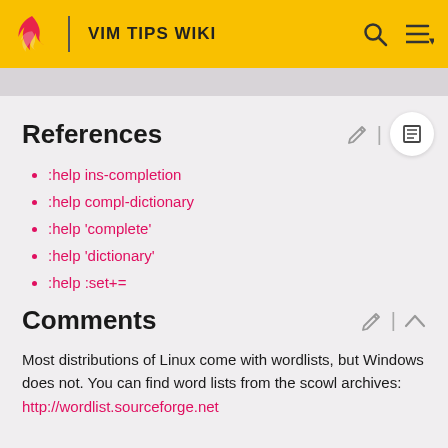VIM TIPS WIKI
References
:help ins-completion
:help compl-dictionary
:help 'complete'
:help 'dictionary'
:help :set+=
Comments
Most distributions of Linux come with wordlists, but Windows does not. You can find word lists from the scowl archives: http://wordlist.sourceforge.net